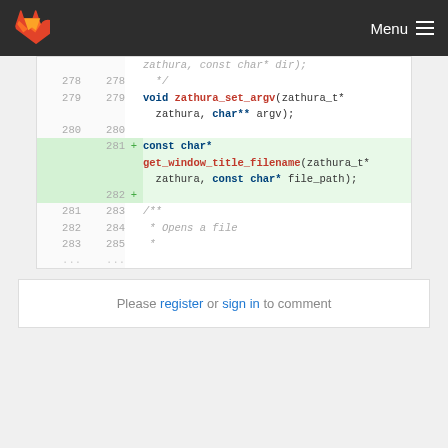GitLab Menu
[Figure (screenshot): Code diff view showing C header file with line numbers. Lines 278-285 visible. Lines 281-282 are added lines (highlighted green) showing: + const char* get_window_title_filename(zathura_t* zathura, const char* file_path); and + . Lines 281-285 show /** * Opens a file * ...]
Please register or sign in to comment